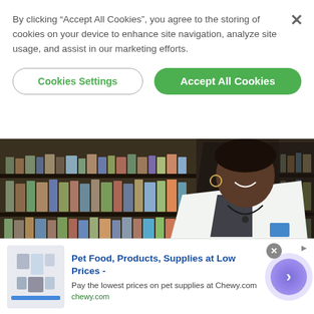By clicking “Accept All Cookies”, you agree to the storing of cookies on your device to enhance site navigation, analyze site usage, and assist in our marketing efforts.
Cookies Settings
Accept All Cookies
[Figure (photo): A pharmacist in a white lab coat standing in front of pharmacy shelves stocked with various supplement and medicine bottles, smiling at the camera.]
Pet Food, Products, Supplies at Low Prices -
Pay the lowest prices on pet supplies at Chewy.com
chewy.com